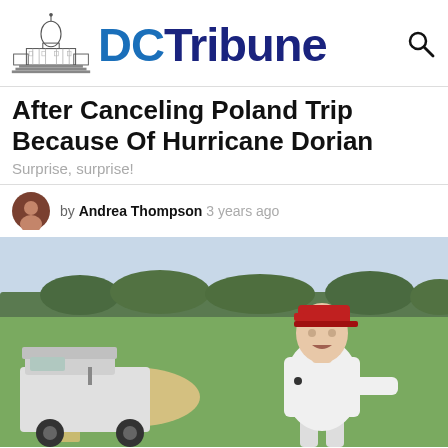DC Tribune
After Canceling Poland Trip Because Of Hurricane Dorian
Surprise, surprise!
by Andrea Thompson 3 years ago
[Figure (photo): Man in red cap and white polo shirt stepping off a golf cart on a golf course with green grass and trees in background]